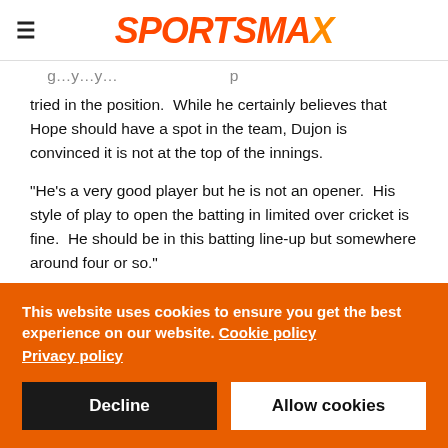SPORTSMAX
...g...y...y...p tried in the position. While he certainly believes that Hope should have a spot in the team, Dujon is convinced it is not at the top of the innings.
“He’s a very good player but he is not an opener. His style of play to open the batting in limited over cricket is fine. He should be in this batting line-up but somewhere around four or so.”
This website uses cookies to ensure you get the best experience on our website. Cookie policy Privacy policy
Decline
Allow cookies